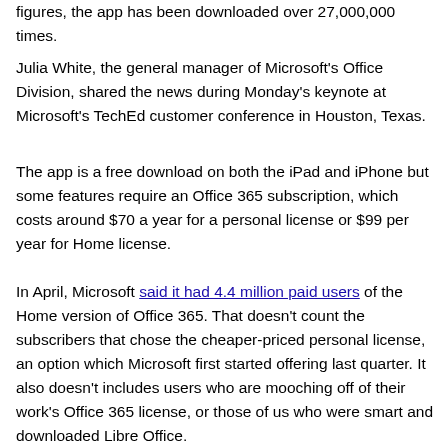figures, the app has been downloaded over 27,000,000 times.
Julia White, the general manager of Microsoft's Office Division, shared the news during Monday's keynote at Microsoft's TechEd customer conference in Houston, Texas.
The app is a free download on both the iPad and iPhone but some features require an Office 365 subscription, which costs around $70 a year for a personal license or $99 per year for Home license.
In April, Microsoft said it had 4.4 million paid users of the Home version of Office 365. That doesn't count the subscribers that chose the cheaper-priced personal license, an option which Microsoft first started offering last quarter. It also doesn't includes users who are mooching off of their work's Office 365 license, or those of us who were smart and downloaded Libre Office.